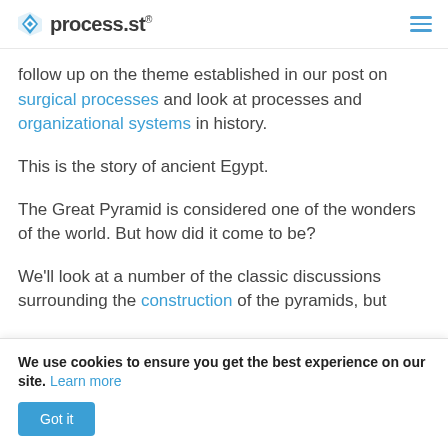process.st
follow up on the theme established in our post on surgical processes and look at processes and organizational systems in history.
This is the story of ancient Egypt.
The Great Pyramid is considered one of the wonders of the world. But how did it come to be?
We'll look at a number of the classic discussions surrounding the construction of the pyramids, but
We use cookies to ensure you get the best experience on our site. Learn more